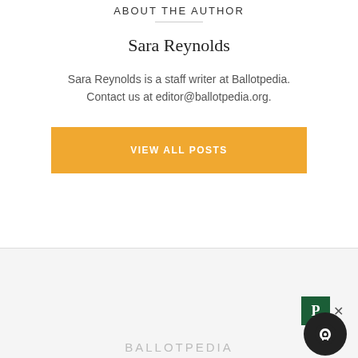ABOUT THE AUTHOR
Sara Reynolds
Sara Reynolds is a staff writer at Ballotpedia. Contact us at editor@ballotpedia.org.
VIEW ALL POSTS
BALLOTPEDIA